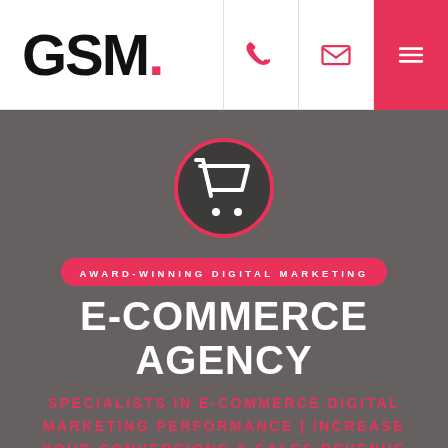GSM.
[Figure (logo): GSM. logo with pink dot on white header bar with phone, email, and menu icons]
AWARD-WINNING DIGITAL MARKETING
E-COMMERCE AGENCY
SPECIALISTS IN E-COMMERCE DIGITAL MARKETING PERFORMANCE | INCREASE YOUR CONVERSIONS & SALES REVENUE